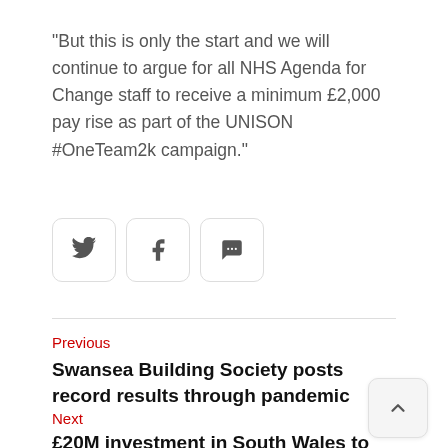“But this is only the start and we will continue to argue for all NHS Agenda for Change staff to receive a minimum £2,000 pay rise as part of the UNISON #OneTeam2k campaign.”
[Figure (other): Social sharing buttons: Twitter bird icon, Facebook f icon, speech bubble/comment icon]
Previous
Swansea Building Society posts record results through pandemic
Next
£20M investment in South Wales to tackle